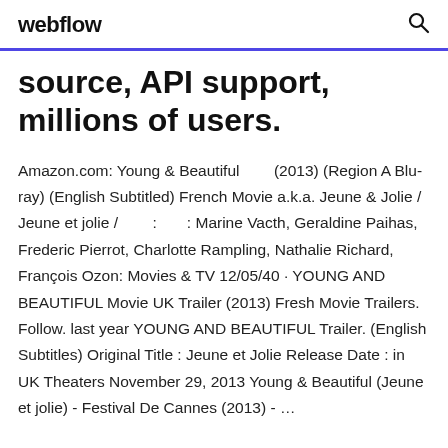webflow
source, API support, millions of users.
Amazon.com: Young & Beautiful (2013) (Region A Blu-ray) (English Subtitled) French Movie a.k.a. Jeune & Jolie / Jeune et jolie / : : Marine Vacth, Geraldine Paihas, Frederic Pierrot, Charlotte Rampling, Nathalie Richard, François Ozon: Movies & TV 12/05/40 · YOUNG AND BEAUTIFUL Movie UK Trailer (2013) Fresh Movie Trailers. Follow. last year YOUNG AND BEAUTIFUL Trailer. (English Subtitles) Original Title : Jeune et Jolie Release Date : in UK Theaters November 29, 2013 Young & Beautiful (Jeune et jolie) - Festival De Cannes (2013) - ...